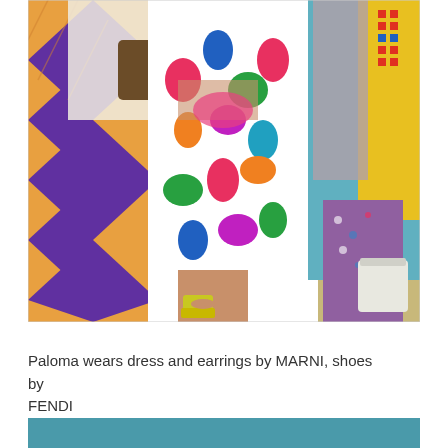[Figure (photo): Fashion photograph showing people in colorful traditional and designer clothing. A woman in the center wears a vibrant multicolored floral dress. To her left is a person in an orange and purple patterned fabric. To the right are people in teal and multicolored patterned garments. The woman in the center wears yellow platform sandals. The background shows colorful fabrics and appears to be a market or textile setting.]
Paloma wears dress and earrings by MARNI, shoes by FENDI
[Figure (photo): Partial view of a teal/turquoise colored background, beginning of another photograph.]